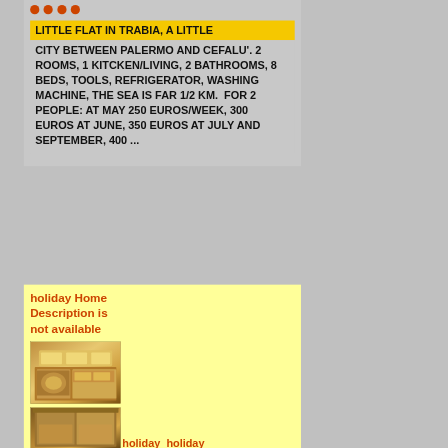• • • •
LITTLE FLAT IN TRABIA, A LITTLE CITY BETWEEN PALERMO AND CEFALU'. 2 ROOMS, 1 KITCKEN/LIVING, 2 BATHROOMS, 8 BEDS, TOOLS, REFRIGERATOR, WASHING MACHINE, THE SEA IS FAR 1/2 KM.  FOR 2 PEOPLE: AT MAY 250 EUROS/WEEK, 300 EUROS AT JUNE, 350 EUROS AT JULY AND SEPTEMBER, 400 ...
holiday Home Description is not available
[Figure (photo): Interior kitchen photo of a holiday home]
[Figure (photo): Second interior photo of a holiday home]
holiday  holiday